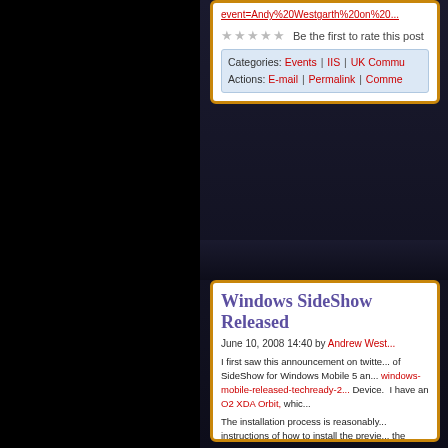event=Andy%20Westgarth%20on%20...
★★★★★ Be the first to rate this post
Categories: Events | IIS | UK Commu...
Actions: E-mail | Permalink | Comme...
Windows SideShow Released
June 10, 2008 14:40 by Andrew West...
I first saw this announcement on twitte... of SideShow for Windows Mobile 5 an... windows-mobile-released-techready-2... Device.  I have an O2 XDA Orbit, whic...
The installation process is reasonably... instructions of how to install the previe... the Exchange, Vista and Office (EVO)... devices in previous blog posting CES... Mobile support it opens out the platfor... controls for Media Centre and other d...